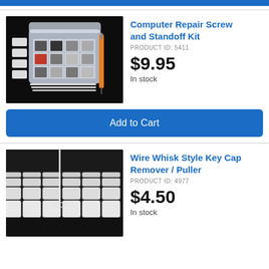[Figure (photo): Top blue navigation bar strip]
[Figure (photo): Computer repair screw and standoff kit in plastic organizer case with screwdriver, on black background]
Computer Repair Screw and Standoff Kit
PRODUCT ID: 5411
$9.95
In stock
Add to Cart
[Figure (photo): Wire whisk style key cap remover/puller tool on keyboard with white keycaps, on dark background]
Wire Whisk Style Key Cap Remover / Puller
PRODUCT ID: 4977
$4.50
In stock